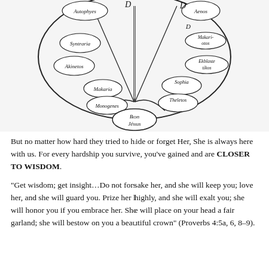[Figure (illustration): A Gnostic diagram depicting an oval/vesica shape containing multiple circles with handwritten names. Visible labels include: Autophyes (top left), Aenos (top right), Syntraria, Makariotoes (right), Akinetos (left), Ekblastikos (right), Makaria (center-left), Sophia (center-right), Monogenes (lower center-left), Theletos (lower center-right), and Bon Jésus (bottom center). Lines connect the circles within the oval shape.]
But no matter how hard they tried to hide or forget Her, She is always here with us. For every hardship you survive, you've gained and are CLOSER TO WISDOM.
“Get wisdom; get insight…Do not forsake her, and she will keep you; love her, and she will guard you. Prize her highly, and she will exalt you; she will honor you if you embrace her. She will place on your head a fair garland; she will bestow on you a beautiful crown” (Proverbs 4:5a, 6, 8–9).